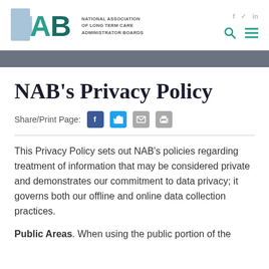NAB - National Association of Long Term Care Administrator Boards
NAB's Privacy Policy
Share/Print Page:
This Privacy Policy sets out NAB's policies regarding treatment of information that may be considered private and demonstrates our commitment to data privacy; it governs both our offline and online data collection practices.
Public Areas. When using the public portion of the